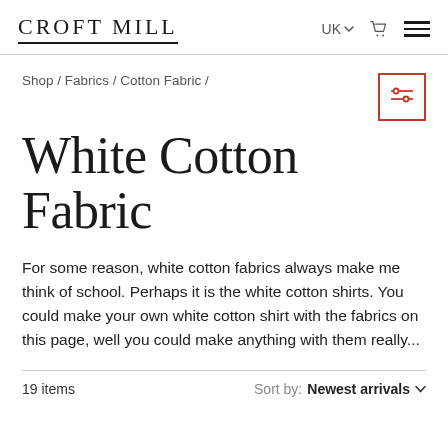Croft Mill — UK · cart · menu
Shop / Fabrics / Cotton Fabric /
White Cotton Fabric
For some reason, white cotton fabrics always make me think of school. Perhaps it is the white cotton shirts. You could make your own white cotton shirt with the fabrics on this page, well you could make anything with them really...
19 items    Sort by: Newest arrivals